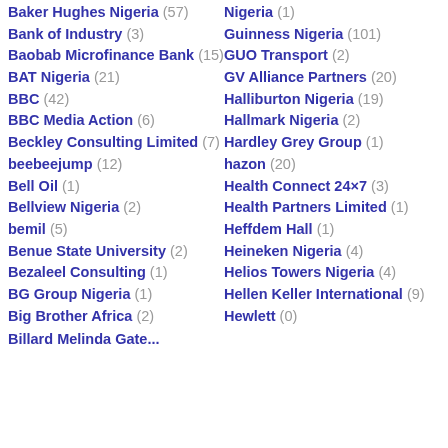Baker Hughes Nigeria (57)
Bank of Industry (3)
Baobab Microfinance Bank (15)
BAT Nigeria (21)
BBC (42)
BBC Media Action (6)
Beckley Consulting Limited (7)
beebeejump (12)
Bell Oil (1)
Bellview Nigeria (2)
bemil (5)
Benue State University (2)
Bezaleel Consulting (1)
BG Group Nigeria (1)
Big Brother Africa (2)
Billard Melinda Gate (partial)
Nigeria (1)
Guinness Nigeria (101)
GUO Transport (2)
GV Alliance Partners (20)
Halliburton Nigeria (19)
Hallmark Nigeria (2)
Hardley Grey Group (1)
hazon (20)
Health Connect 24x7 (3)
Health Partners Limited (1)
Heffdem Hall (1)
Heineken Nigeria (4)
Helios Towers Nigeria (4)
Hellen Keller International (9)
Hewlett (0)